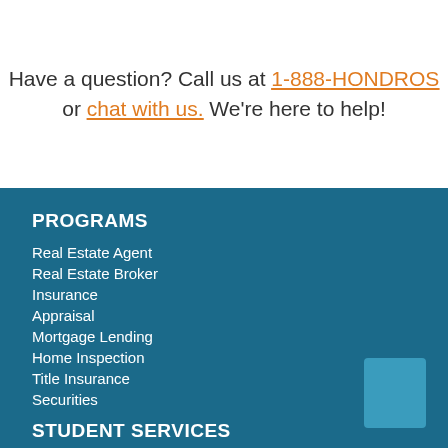Have a question? Call us at 1-888-HONDROS or chat with us. We're here to help!
PROGRAMS
Real Estate Agent
Real Estate Broker
Insurance
Appraisal
Mortgage Lending
Home Inspection
Title Insurance
Securities
STUDENT SERVICES